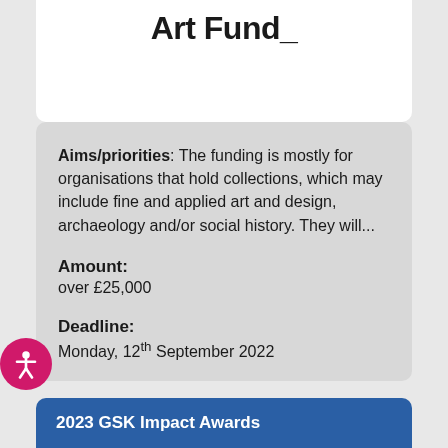[Figure (logo): Art Fund logo with text 'Art Fund_' in bold black on white background]
Aims/priorities: The funding is mostly for organisations that hold collections, which may include fine and applied art and design, archaeology and/or social history. They will...
Amount:
over £25,000
Deadline:
Monday, 12th September 2022
2023 GSK Impact Awards